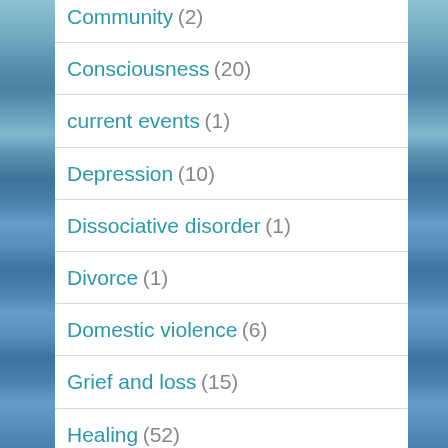Community (2)
Consciousness (20)
current events (1)
Depression (10)
Dissociative disorder (1)
Divorce (1)
Domestic violence (6)
Grief and loss (15)
Healing (52)